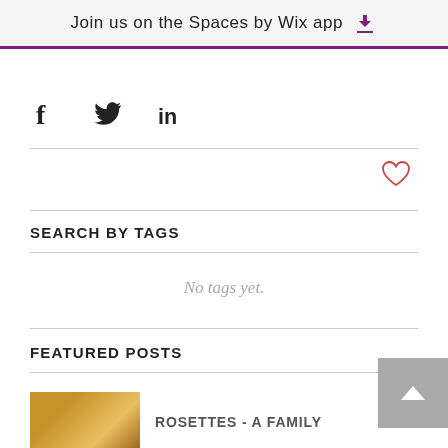Join us on the Spaces by Wix app
[Figure (other): Social media share icons: Facebook (f), Twitter (bird), LinkedIn (in)]
[Figure (other): Heart/like icon (outline heart, red/coral color)]
SEARCH BY TAGS
No tags yet.
FEATURED POSTS
[Figure (photo): Thumbnail image of rosettes food item]
ROSETTES - A FAMILY